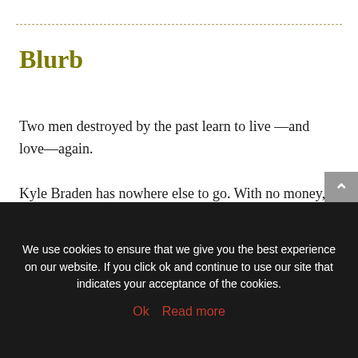Blurb
Two men destroyed by the past learn to live —and love—again.

Kyle Braden has nowhere else to go. With no money, no prospects, and no drive to be something else, he turns to the only man who promises him help. Jack Campbell-Hayes wants to show Kyle that he can be more than he ever thought.
We use cookies to ensure that we give you the best experience on our website. If you click ok and continue to use our site that indicates your acceptance of the cookies.
Ok   Read more